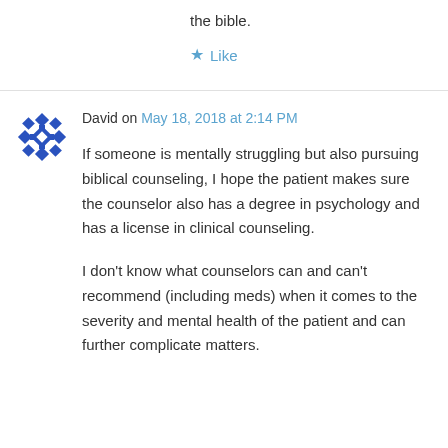the bible.
★ Like
David on May 18, 2018 at 2:14 PM
If someone is mentally struggling but also pursuing biblical counseling, I hope the patient makes sure the counselor also has a degree in psychology and has a license in clinical counseling.
I don't know what counselors can and can't recommend (including meds) when it comes to the severity and mental health of the patient and can further complicate matters.